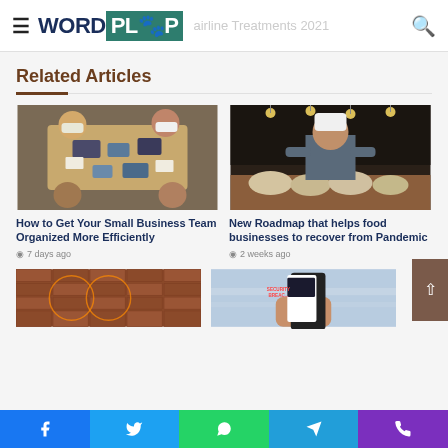WORDPLOP — airline Treatments 2021
Related Articles
[Figure (photo): Overhead view of people sitting around a wooden table with laptops, tablets, and documents — a business team meeting]
How to Get Your Small Business Team Organized More Efficiently
7 days ago
[Figure (photo): A chef or food worker preparing dishes on a wooden table in a restaurant setting with hanging lights]
New Roadmap that helps food businesses to recover from Pandemic
2 weeks ago
[Figure (photo): Brick wall with circular graphic overlay elements]
[Figure (photo): Hand holding a smartphone showing a SECURITY BREACH notification]
Facebook | Twitter | WhatsApp | Telegram | Phone